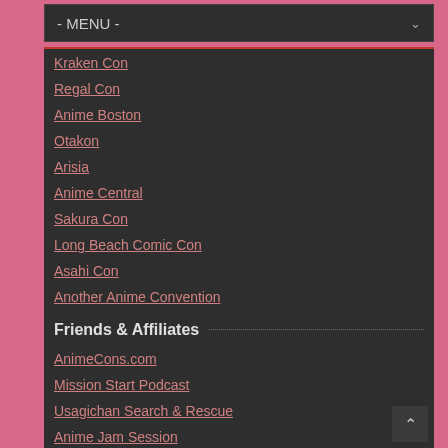- MENU -
Kraken Con
Regal Con
Anime Boston
Otakon
Arisia
Anime Central
Sakura Con
Long Beach Comic Con
Asahi Con
Another Anime Convention
Friends & Affiliates
AnimeCons.com
Mission Start Podcast
Usagichan Search & Rescue
Anime Jam Session
i360